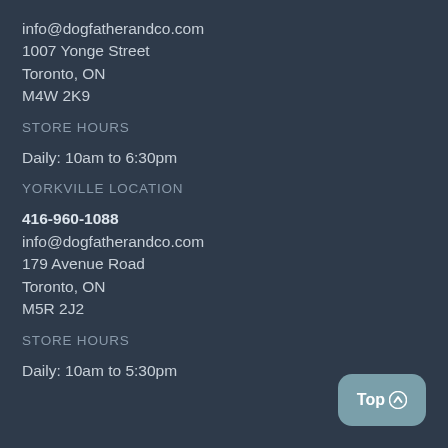info@dogfatherandco.com
1007 Yonge Street
Toronto, ON
M4W 2K9
STORE HOURS
Daily: 10am to 6:30pm
YORKVILLE LOCATION
416-960-1088
info@dogfatherandco.com
179 Avenue Road
Toronto, ON
M5R 2J2
STORE HOURS
Daily: 10am to 5:30pm